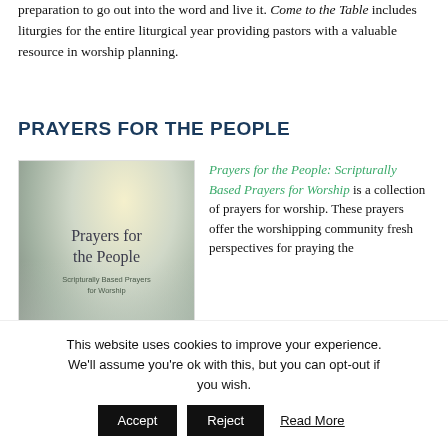preparation to go out into the word and live it. Come to the Table includes liturgies for the entire liturgical year providing pastors with a valuable resource in worship planning.
PRAYERS FOR THE PEOPLE
[Figure (photo): Book cover for 'Prayers for the People: Scripturally Based Prayers for Worship' showing a sky with clouds background]
Prayers for the People: Scripturally Based Prayers for Worship is a collection of prayers for worship. These prayers offer the worshipping community fresh perspectives for praying the
This website uses cookies to improve your experience. We'll assume you're ok with this, but you can opt-out if you wish. Accept Reject Read More